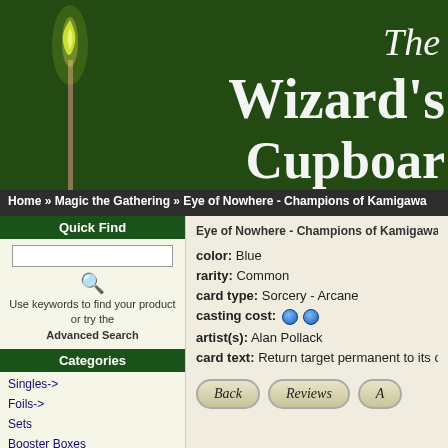[Figure (screenshot): The Wizard's Cupboard website header with green textured background, candle flame on left, and white serif title text]
Home » Magic the Gathering » Eye of Nowhere - Champions of Kamigawa
Quick Find
Use keywords to find your product or try the Advanced Search
Categories
Singles->
Foils->
Sets
Booster Boxes
Booster Packs
Other Sealed Product
Specialty Items
Accessories
Other CCG's
Alternate Art Cards
Information
Blog
Dragon Sculptures
Company Details
Shipping & Returns
Eye of Nowhere - Champions of Kamigawa Magic the G
color: Blue
rarity: Common
card type: Sorcery - Arcane
casting cost: [blue][blue]
artist(s): Alan Pollack
card text: Return target permanent to its owner's han